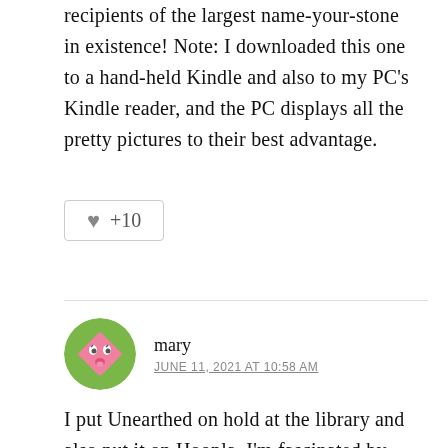recipients of the largest name-your-stone in existence! Note: I downloaded this one to a hand-held Kindle and also to my PC's Kindle reader, and the PC displays all the pretty pictures to their best advantage.
[Figure (other): Like button with heart icon showing +10 likes inside a rounded rectangle border]
mary
JUNE 11, 2021 AT 10:58 AM
I put Unearthed on hold at the library and also put it on Hoopla. I'm fascinated by ogling gemstones. I also have a catalogue of gem pieces from Skinner's the auction house